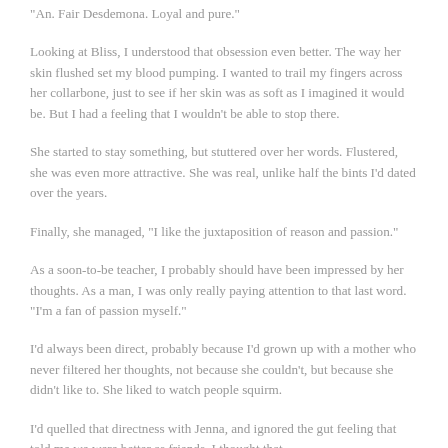“Ah. Fair Desdemona. Loyal and pure.”
Looking at Bliss, I understood that obsession even better. The way her skin flushed set my blood pumping. I wanted to trail my fingers across her collarbone, just to see if her skin was as soft as I imagined it would be. But I had a feeling that I wouldn’t be able to stop there.
She started to stay something, but stuttered over her words. Flustered, she was even more attractive. She was real, unlike half the bints I’d dated over the years.
Finally, she managed, “I like the juxtaposition of reason and passion.”
As a soon-to-be teacher, I probably should have been impressed by her thoughts. As a man, I was only really paying attention to that last word.
“I’m a fan of passion myself.”
I’d always been direct, probably because I’d grown up with a mother who never filtered her thoughts, not because she couldn’t, but because she didn’t like to. She liked to watch people squirm.
I’d quelled that directness with Jenna, and ignored the gut feeling that told me we were better as friends. I thought that